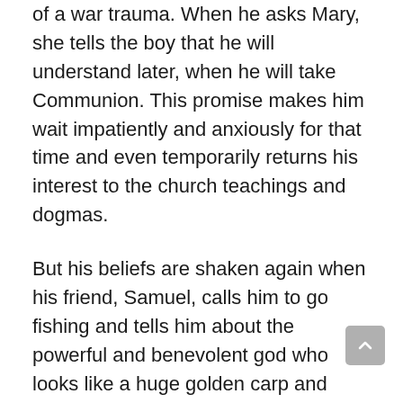of a war trauma. When he asks Mary, she tells the boy that he will understand later, when he will take Communion. This promise makes him wait impatiently and anxiously for that time and even temporarily returns his interest to the church teachings and dogmas.
But his beliefs are shaken again when his friend, Samuel, calls him to go fishing and tells him about the powerful and benevolent god who looks like a huge golden carp and looks over humanity. This legend can't combine with Christian faith, but it is perfectly acceptable in the worldview of Ultima. Antonio feels that her teachings explain much more in the life around him and answer more his questions than the church. Later he goes to visit the poor home of a town